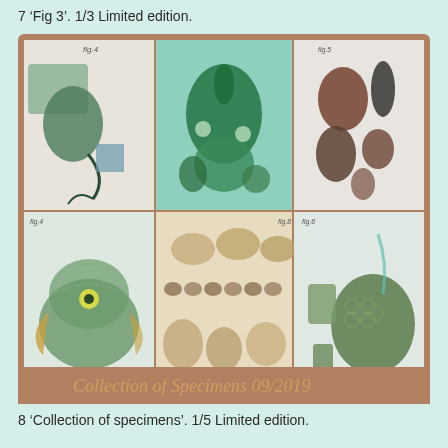7 'Fig 3'. 1/3 Limited edition.
[Figure (photo): A grid of six artistic botanical/nature specimen illustration photographs arranged 3x2 within a brown-bordered frame. Top row left: pencil drawing with green mossy/plant specimens. Top row center: green algae/plant specimens on teal background. Top row right: dried seed pods and snail shells on white background. Bottom row left: illustrated green pufferfish with decorative elements. Bottom row center: various shells and mollusks arranged on yellowish background. Bottom row right: textured green specimens with ribbon. A cursive signature 'Collection of Specimens 09/2019' appears at the bottom of the frame on a brown band.]
8 'Collection of specimens'. 1/5 Limited edition.